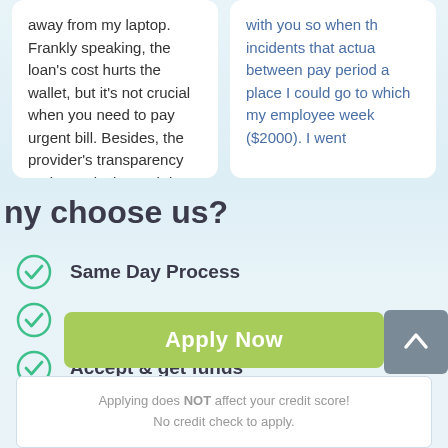away from my laptop. Frankly speaking, the loan's cost hurts the wallet, but it's not crucial when you need to pay urgent bill. Besides, the provider's transparency and security is worth it."
with you so when the incidents that actual between pay period a place I could go to which my employee week ($2000). I went
ny choose us?
Same Day Process
Online process
Accept & get funds
Rebuild Credit
Apply Now
Applying does NOT affect your credit score!
No credit check to apply.